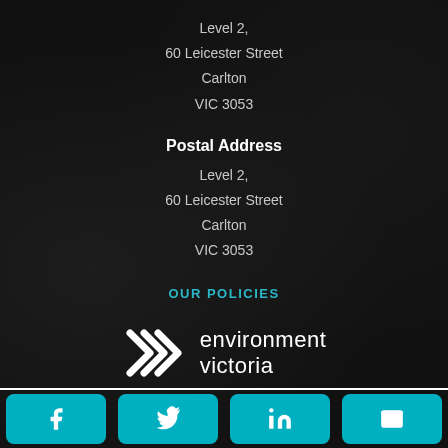Level 2,
60 Leicester Street
Carlton
VIC 3053
Postal Address
Level 2,
60 Leicester Street
Carlton
VIC 3053
OUR POLICIES
[Figure (logo): Environment Victoria logo with double chevron arrows and text 'environment victoria']
[Figure (infographic): Social sharing buttons: Facebook, Twitter, LinkedIn, Email]